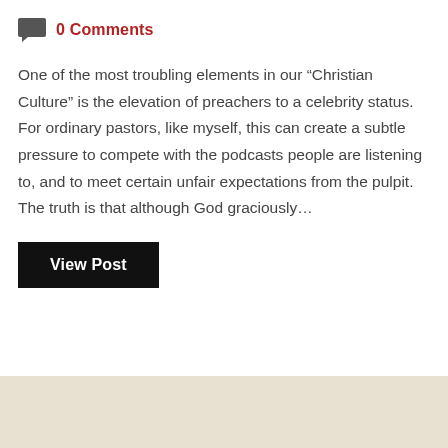0 Comments
One of the most troubling elements in our “Christian Culture” is the elevation of preachers to a celebrity status. For ordinary pastors, like myself, this can create a subtle pressure to compete with the podcasts people are listening to, and to meet certain unfair expectations from the pulpit. The truth is that although God graciously…
View Post
[Figure (photo): Light beige/tan colored background image area at the bottom of the page]